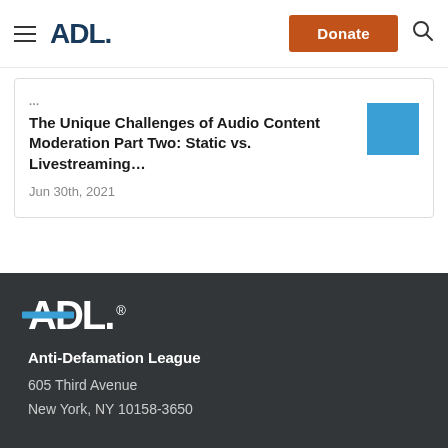ADL. Donate [search]
The Unique Challenges of Audio Content Moderation Part Two: Static vs. Livestreaming...
Jun 30th, 2021
[Figure (logo): ADL logo white on dark background with blue stripe]
Anti-Defamation League
605 Third Avenue
New York, NY 10158-3650